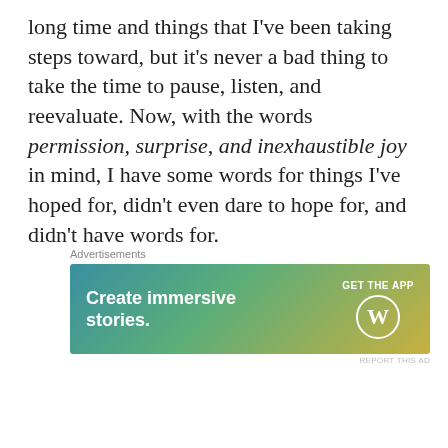long time and things that I've been taking steps toward, but it's never a bad thing to take the time to pause, listen, and reevaluate. Now, with the words permission, surprise, and inexhaustible joy in mind, I have some words for things I've hoped for, didn't even dare to hope for, and didn't have words for.
[Figure (other): WordPress advertisement banner with gradient background (teal to yellow-green). Text reads 'Create immersive stories.' with 'GET THE APP' and WordPress logo on the right.]
Privacy & Cookies: This site uses cookies. By continuing to use this website, you agree to their use.
To find out more, including how to control cookies, see here:
Cookie Policy
Close and accept